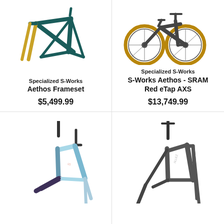[Figure (photo): Specialized S-Works Aethos Frameset — dark teal/green carbon frame with gold fork, no wheels shown]
Specialized S-Works
Aethos Frameset
$5,499.99
[Figure (photo): Specialized S-Works S-Works Aethos SRAM Red eTap AXS — complete dark grey road bike with tan/gold tires]
Specialized S-Works
S-Works Aethos - SRAM Red eTap AXS
$13,749.99
[Figure (photo): Light blue Specialized frameset with purple/dark lower tube, partial view cropped at bottom]
[Figure (photo): Dark grey/charcoal Specialized frameset, partial view cropped at bottom]